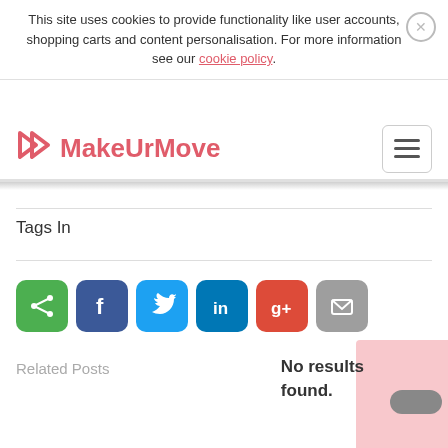This site uses cookies to provide functionality like user accounts, shopping carts and content personalisation. For more information see our cookie policy.
[Figure (logo): MakeUrMove logo with arrow icon in coral/pink color]
Tags In
[Figure (infographic): Social share buttons: share (green), Facebook (blue), Twitter (light blue), LinkedIn (dark blue), Google+ (red), email (grey)]
Related Posts
No results found.